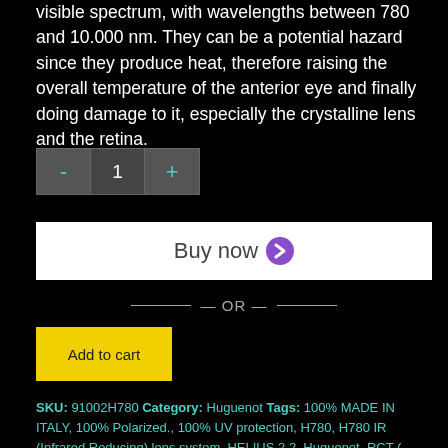visible spectrum, with wavelengths between 780 and 10.000 nm. They can be a potential hazard since they produce heat, therefore raising the overall temperature of the anterior eye and finally doing damage to it, especially the crystalline lens and the retina.
[Figure (other): Quantity selector widget with minus button, number 1, and plus button in gray boxes]
[Figure (other): Buy now button with white background and purple arrow chevron]
— OR —
[Figure (other): Yellow Add to cart button]
SKU: 91002H780 Category: Huguenot Tags: 100% MADE IN ITALY, 100% Polarized., 100% UV protection, H780, H780 IR (Infrared Reducing) lens system, HELIUS 2.2, Huguenot, RCT ( Radius Curving Technology ), RCT